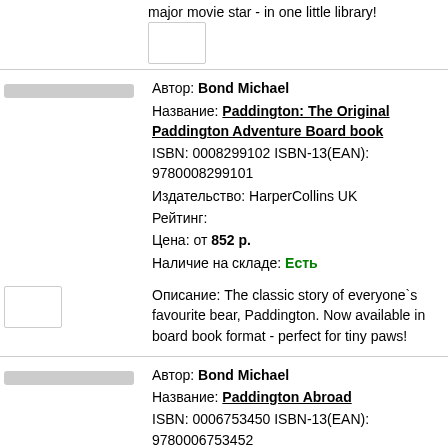major movie star - in one little library!
Автор: Bond Michael
Название: Paddington: The Original Paddington Adventure Board book
ISBN: 0008299102 ISBN-13(EAN): 9780008299101
Издательство: HarperCollins UK
Рейтинг:
Цена: от 852 р.
Наличие на складе: Есть

Описание: The classic story of everyone`s favourite bear, Paddington. Now available in board book format - perfect for tiny paws!
Автор: Bond Michael
Название: Paddington Abroad
ISBN: 0006753450 ISBN-13(EAN): 9780006753452
Издательство: HarperCollins UK
Рейтинг:
Цена: от 590 р.
Наличие на складе: Есть